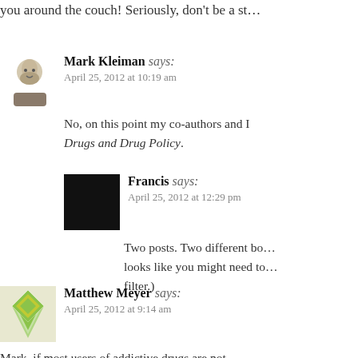you around the couch! Seriously, don't be a st…
Mark Kleiman says: April 25, 2012 at 10:19 am
No, on this point my co-authors and I … Drugs and Drug Policy.
Francis says: April 25, 2012 at 12:29 pm
Two posts. Two different bo… looks like you might need to… filter.)
Matthew Meyer says: April 25, 2012 at 9:14 am
Mark, if most users of addictive drugs are not…